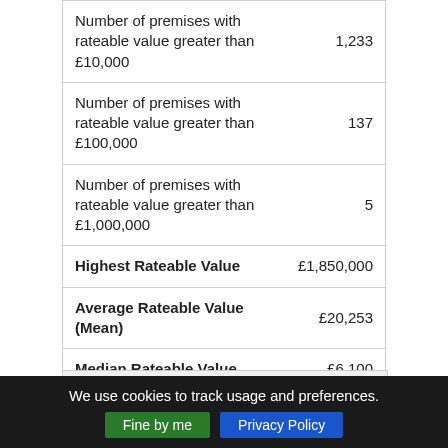| Description | Value |
| --- | --- |
| Number of premises with rateable value greater than £10,000 | 1,233 |
| Number of premises with rateable value greater than £100,000 | 137 |
| Number of premises with rateable value greater than £1,000,000 | 5 |
| Highest Rateable Value | £1,850,000 |
| Average Rateable Value (Mean) | £20,253 |
| Median Rateable Value | £6,100 |
| Typical Rateable Value (Mode) | £10,000 |
We use cookies to track usage and preferences.